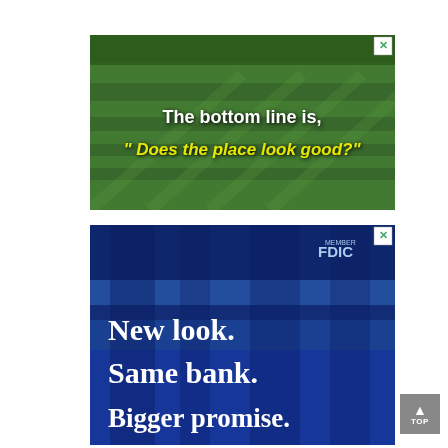[Figure (photo): Advertisement showing a green mowed grass field/sports ground with overhead view. White text reads 'The bottom line is,' and bold yellow italic text reads '" Does the place look good?"'. A small close button (X) is in the top-right corner.]
[Figure (photo): Bank advertisement with blue tinted background showing blurred blue shapes. Top right shows 'MEMBER FDIC' text. Large white serif text reads 'New look. Same bank. Bigger promise.' A small close button (X) is in the top-right corner.]